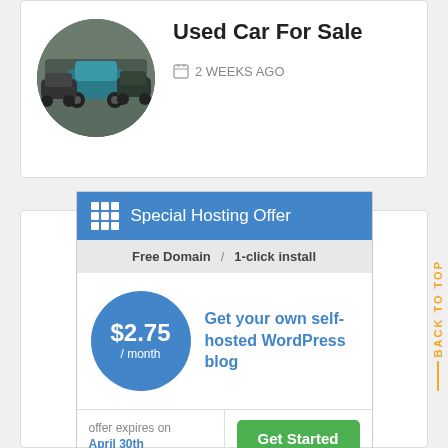[Figure (photo): Circular thumbnail photo of used cars parked in a lot, viewed from above/front]
Used Car For Sale
2 WEEKS AGO
[Figure (infographic): Web hosting advertisement banner: Special Hosting Offer - Free Domain / 1-click install - $2.75/month - Get your own self-hosted WordPress blog - offer expires on April 30th - Get Started button]
BACK TO TOP